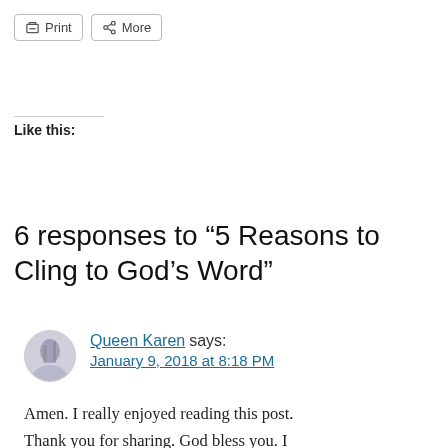Print | More
Like this:
6 responses to “5 Reasons to Cling to God’s Word”
Queen Karen says:
January 9, 2018 at 8:18 PM
Amen. I really enjoyed reading this post. Thank you for sharing. God bless you. I have so many Bible verses that I love but